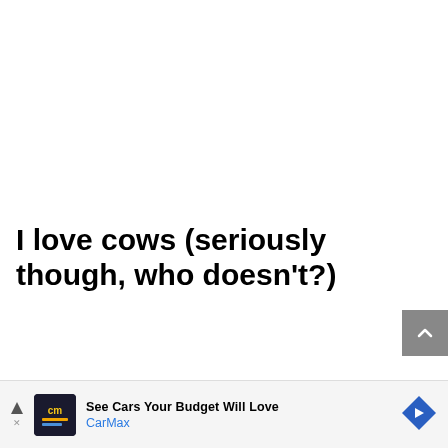I love cows (seriously though, who doesn't?)
I also see the impact the meat and dairy industry has on the environment. I love cows, they are my favourite animal and daily creature. But I step in the direction not…
[Figure (screenshot): Advertisement banner for CarMax: 'See Cars Your Budget Will Love' with CarMax logo and navigation arrow icon]